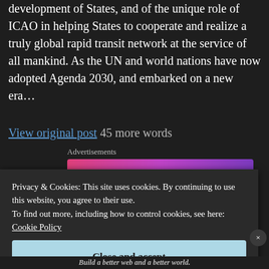development of States, and of the unique role of ICAO in helping States to cooperate and realize a truly global rapid transit network at the service of all mankind. As the UN and world nations have now adopted Agenda 2030, and embarked on a new era…
View original post 45 more words
[Figure (illustration): Colorful advertisement banner with illustrated doodles on a pink-to-purple gradient background, featuring a sailboat, skull, and colorful sphere characters with decorative elements]
Privacy & Cookies: This site uses cookies. By continuing to use this website, you agree to their use.
To find out more, including how to control cookies, see here: Cookie Policy
Close and accept
Build a better web and a better world.